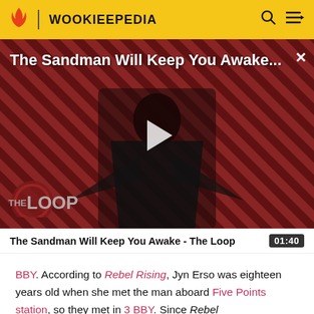WOOKIEEPEDIA
[Figure (screenshot): Video thumbnail for 'The Sandman Will Keep You Awake...' showing a dark-robed figure against a red and black diagonal stripe background with a play button overlay and 'THE LOOP' logo in the lower left.]
The Sandman Will Keep You Awake - The Loop  01:40
BBY. According to Rebel Rising, Jyn Erso was eighteen years old when she met the man aboard Five Points station, so they met in 3 BBY. Since Rebel